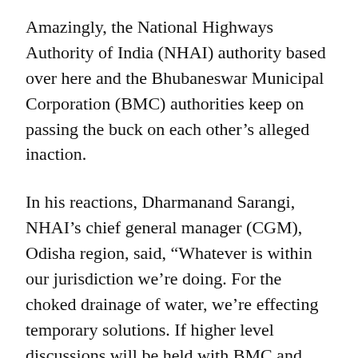Amazingly, the National Highways Authority of India (NHAI) authority based over here and the Bhubaneswar Municipal Corporation (BMC) authorities keep on passing the buck on each other's alleged inaction.
In his reactions, Dharmanand Sarangi, NHAI's chief general manager (CGM), Odisha region, said, “Whatever is within our jurisdiction we’re doing. For the choked drainage of water, we’re effecting temporary solutions. If higher level discussions will be held with BMC and State Government, the issue can be permanently resolved.”
“It’s well noticed that water-logging is at its zenith in front of ISKCON Temple. Its solution is not so easy,